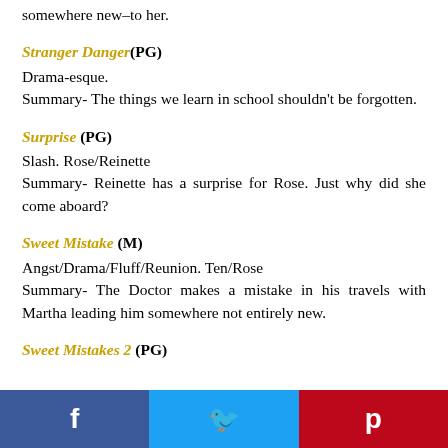through with the Doctor leads them somewhere new–to her.
Stranger Danger (PG)
Drama-esque.
Summary- The things we learn in school shouldn't be forgotten.
Surprise (PG)
Slash. Rose/Reinette
Summary- Reinette has a surprise for Rose. Just why did she come aboard?
Sweet Mistake (M)
Angst/Drama/Fluff/Reunion. Ten/Rose
Summary- The Doctor makes a mistake in his travels with Martha leading him somewhere not entirely new.
Sweet Mistakes 2 (PG)
[Figure (infographic): Social media share bar with Facebook (blue), Twitter (light blue), and Pinterest (red) icons]